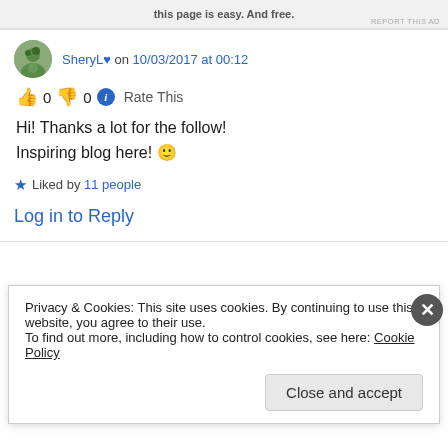[Figure (screenshot): Top ad bar with truncated promotional text and 'REPORT THIS AD' label]
SheryL♥ on 10/03/2017 at 00:12
👍 0 👎 0 ℹ Rate This
Hi! Thanks a lot for the follow!
Inspiring blog here! 🙂
★ Liked by 11 people
Log in to Reply
Privacy & Cookies: This site uses cookies. By continuing to use this website, you agree to their use.
To find out more, including how to control cookies, see here: Cookie Policy
Close and accept